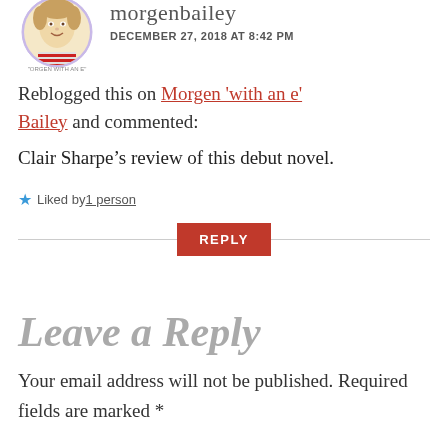[Figure (illustration): Cartoon caricature avatar of morgen bailey in a circular frame with light purple border, text 'MORGEN WITH AN E' below]
morgenbailey
DECEMBER 27, 2018 AT 8:42 PM
Reblogged this on Morgen 'with an e' Bailey and commented:
Clair Sharpe’s review of this debut novel.
★ Liked by 1 person
REPLY
Leave a Reply
Your email address will not be published. Required fields are marked *